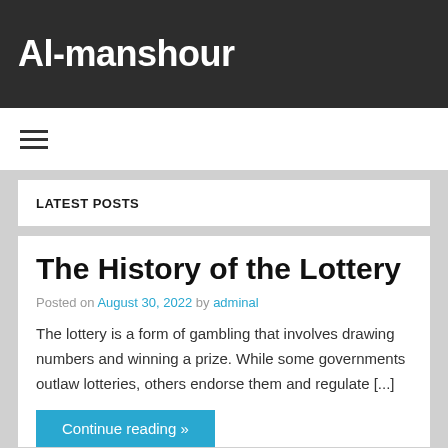Al-manshour
LATEST POSTS
The History of the Lottery
Posted on August 30, 2022 by adminal
The lottery is a form of gambling that involves drawing numbers and winning a prize. While some governments outlaw lotteries, others endorse them and regulate [...]
Continue reading »